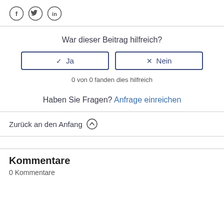[Figure (other): Social media icons: Facebook (f), Twitter (bird), LinkedIn (in)]
War dieser Beitrag hilfreich?
[Figure (other): Two buttons: checkmark Ja and X Nein]
0 von 0 fanden dies hilfreich
Haben Sie Fragen? Anfrage einreichen
Zurück an den Anfang ↑
Kommentare
0 Kommentare